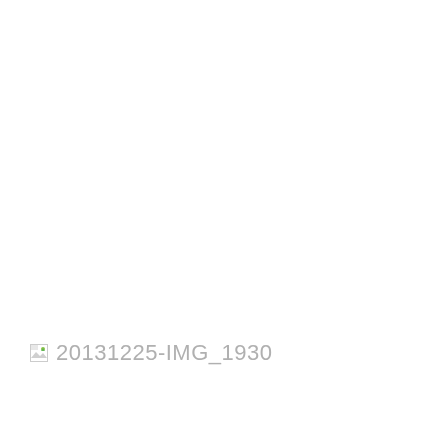[Figure (photo): Broken/missing image placeholder with icon and filename label '20131225-IMG_1930']